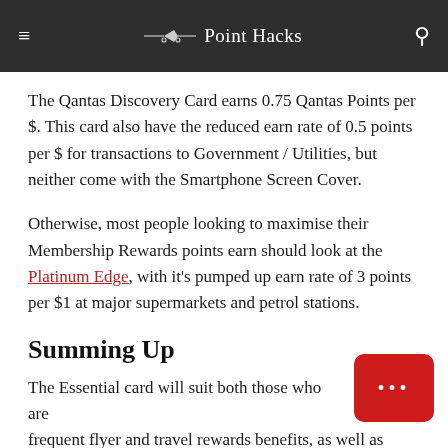Point Hacks
The Qantas Discovery Card earns 0.75 Qantas Points per $. This card also have the reduced earn rate of 0.5 points per $ for transactions to Government / Utilities, but neither come with the Smartphone Screen Cover.
Otherwise, most people looking to maximise their Membership Rewards points earn should look at the Platinum Edge, with it's pumped up earn rate of 3 points per $1 at major supermarkets and petrol stations.
Summing Up
The Essential card will suit both those who are frequent flyer and travel rewards benefits, as well as those who are not totally hooked on rewards and